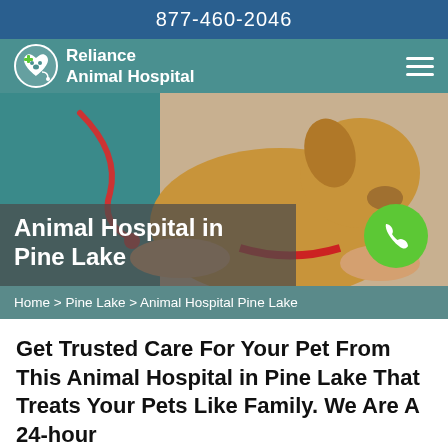877-460-2046
[Figure (logo): Reliance Animal Hospital logo with paw and heart icon, white text on teal background]
[Figure (photo): Veterinarian in teal scrubs with stethoscope holding a golden dog, with text overlay 'Animal Hospital in Pine Lake' and green phone button]
Home > Pine Lake > Animal Hospital Pine Lake
Get Trusted Care For Your Pet From This Animal Hospital in Pine Lake That Treats Your Pets Like Family. We Are A 24-hour